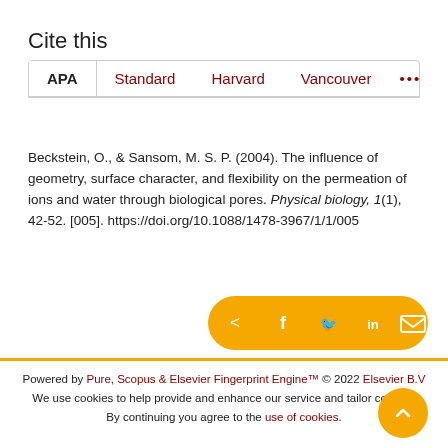Cite this
APA   Standard   Harvard   Vancouver   •••
Beckstein, O., & Sansom, M. S. P. (2004). The influence of geometry, surface character, and flexibility on the permeation of ions and water through biological pores. Physical biology, 1(1), 42-52. [005]. https://doi.org/10.1088/1478-3967/1/1/005
[Figure (infographic): Golden share bar with icons for share, facebook, twitter, linkedin, and email]
Powered by Pure, Scopus & Elsevier Fingerprint Engine™ © 2022 Elsevier B.V
We use cookies to help provide and enhance our service and tailor content. By continuing you agree to the use of cookies.